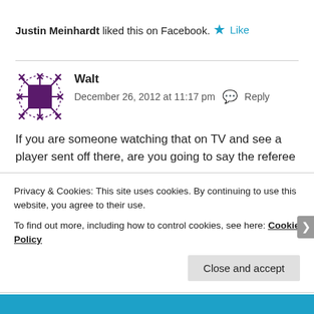Justin Meinhardt liked this on Facebook.
★ Like
Walt
December 26, 2012 at 11:17 pm   Reply
If you are someone watching that on TV and see a player sent off there, are you going to say the referee
Privacy & Cookies: This site uses cookies. By continuing to use this website, you agree to their use.
To find out more, including how to control cookies, see here: Cookie Policy
Close and accept